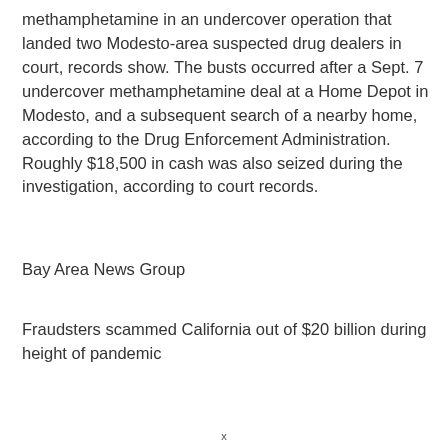methamphetamine in an undercover operation that landed two Modesto-area suspected drug dealers in court, records show. The busts occurred after a Sept. 7 undercover methamphetamine deal at a Home Depot in Modesto, and a subsequent search of a nearby home, according to the Drug Enforcement Administration. Roughly $18,500 in cash was also seized during the investigation, according to court records.
Bay Area News Group
Fraudsters scammed California out of $20 billion during height of pandemic
x